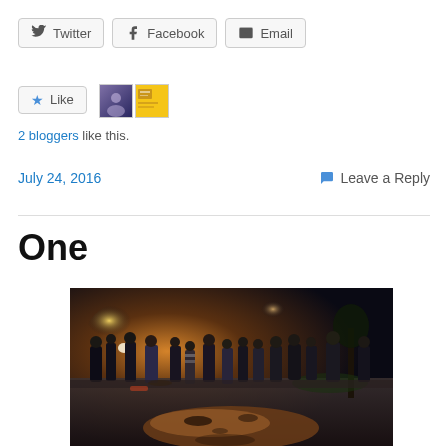[Figure (other): Social share buttons: Twitter, Facebook, Email]
[Figure (other): Like button with star icon and two blogger avatars]
2 bloggers like this.
July 24, 2016
Leave a Reply
One
[Figure (photo): Nighttime outdoor gathering of people standing around a large chalk portrait drawn on the ground/pavement, illuminated by warm lights.]